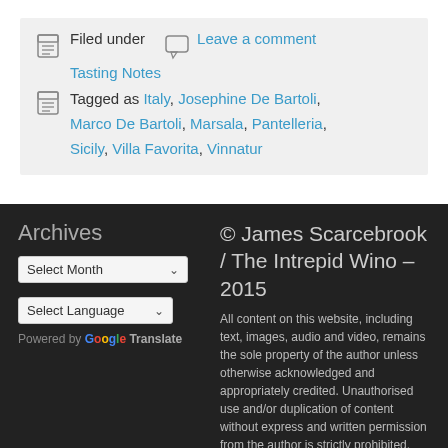Filed under   Leave a comment
Tasting Notes
Tagged as Italy, Josephine De Bartoli, Marco De Bartoli, Marsala, Pantelleria, Sicily, Villa Favorita, Vinnatur
Archives
Select Month
Select Language
Powered by Google Translate
© James Scarcebrook / The Intrepid Wino – 2015
All content on this website, including text, images, audio and video, remains the sole property of the author unless otherwise acknowledged and appropriately credited. Unauthorised use and/or duplication of content without express and written permission from the author is strictly prohibited. Content may be used for reproduction